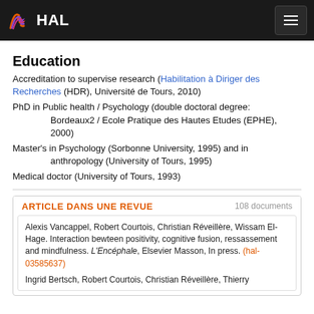HAL
Education
Accreditation to supervise research (Habilitation à Diriger des Recherches (HDR), Université de Tours, 2010)
PhD in Public health / Psychology (double doctoral degree: Bordeaux2 / Ecole Pratique des Hautes Etudes (EPHE), 2000)
Master's in Psychology (Sorbonne University, 1995) and in anthropology (University of Tours, 1995)
Medical doctor (University of Tours, 1993)
ARTICLE DANS UNE REVUE
108 documents
Alexis Vancappel, Robert Courtois, Christian Réveillère, Wissam El-Hage. Interaction bewteen positivity, cognitive fusion, ressassement and mindfulness. L'Encéphale, Elsevier Masson, In press. (hal-03585637)
Ingrid Bertsch, Robert Courtois, Christian Réveillère, Thierry